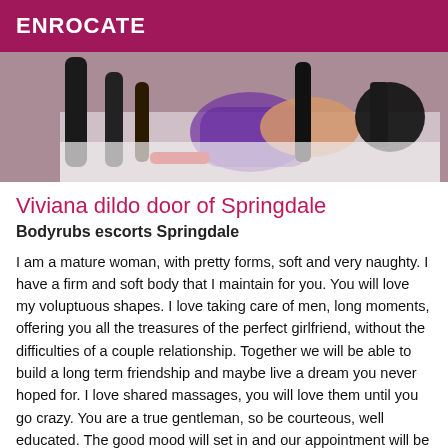ENROCATE
[Figure (photo): Photo of a person on a bed with various objects, wearing high heels, partially obscured.]
Viviana dildo door of Springdale
Bodyrubs escorts Springdale
I am a mature woman, with pretty forms, soft and very naughty. I have a firm and soft body that I maintain for you. You will love my voluptuous shapes. I love taking care of men, long moments, offering you all the treasures of the perfect girlfriend, without the difficulties of a couple relationship. Together we will be able to build a long term friendship and maybe live a dream you never hoped for. I love shared massages, you will love them until you go crazy. You are a true gentleman, so be courteous, well educated. The good mood will set in and our appointment will be a great success. You will love